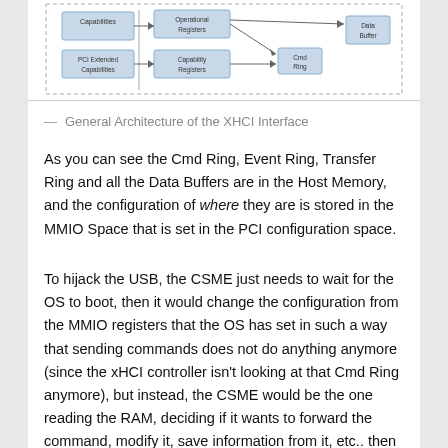[Figure (schematic): Partial view of a block diagram showing the General Architecture of the XHCI Interface, with boxes labeled Capabilities, PCI Extended Capabilities, Operational Registers, Capability Registers, Cmd Ring, and Data Buffer connected by arrows.]
— General Architecture of the XHCI Interface
As you can see the Cmd Ring, Event Ring, Transfer Ring and all the Data Buffers are in the Host Memory, and the configuration of where they are is stored in the MMIO Space that is set in the PCI configuration space.
To hijack the USB, the CSME just needs to wait for the OS to boot, then it would change the configuration from the MMIO registers that the OS has set in such a way that sending commands does not do anything anymore (since the xHCI controller isn't looking at that Cmd Ring anymore), but instead, the CSME would be the one reading the RAM, deciding if it wants to forward the command, modify it, save information from it, etc.. then writing the same (or modified) command in the actual Cmd Ring that the xHCI controller is listening to. When an event or data is received, The CSME would copy that data